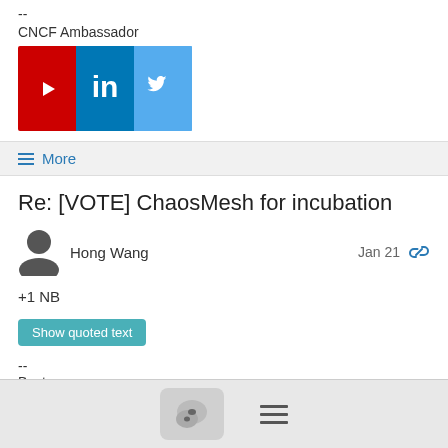--
CNCF Ambassador
[Figure (infographic): Social media icons: YouTube (red), LinkedIn (blue), Twitter (light blue)]
≡ More
Re: [VOTE] ChaosMesh for incubation
Hong Wang    Jan 21
+1 NB
Show quoted text
--
Best,
Hong Wang | #argoproj
Founder and CEO @ akuity.io